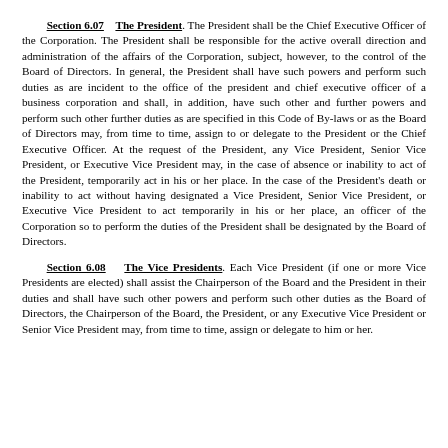Section 6.07    The President. The President shall be the Chief Executive Officer of the Corporation. The President shall be responsible for the active overall direction and administration of the affairs of the Corporation, subject, however, to the control of the Board of Directors. In general, the President shall have such powers and perform such duties as are incident to the office of the president and chief executive officer of a business corporation and shall, in addition, have such other and further powers and perform such other further duties as are specified in this Code of By-laws or as the Board of Directors may, from time to time, assign to or delegate to the President or the Chief Executive Officer. At the request of the President, any Vice President, Senior Vice President, or Executive Vice President may, in the case of absence or inability to act of the President, temporarily act in his or her place. In the case of the President's death or inability to act without having designated a Vice President, Senior Vice President, or Executive Vice President to act temporarily in his or her place, an officer of the Corporation so to perform the duties of the President shall be designated by the Board of Directors.
Section 6.08    The Vice Presidents. Each Vice President (if one or more Vice Presidents are elected) shall assist the Chairperson of the Board and the President in their duties and shall have such other powers and perform such other duties as the Board of Directors, the Chairperson of the Board, the President, or any Executive Vice President or Senior Vice President may, from time to time, assign or delegate to him or her.